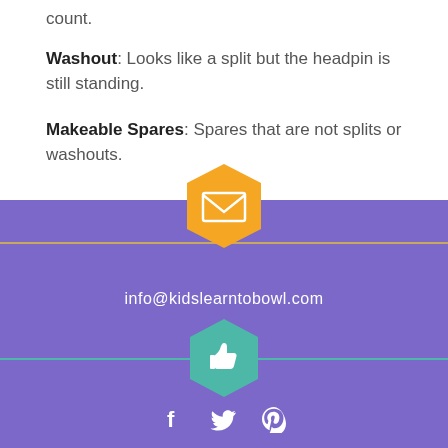count.
Washout: Looks like a split but the headpin is still standing.
Makeable Spares: Spares that are not splits or washouts.
[Figure (infographic): Purple footer section with orange hexagon email icon, email address info@kidslearntobowl.com, teal hexagon thumbs-up icon, and social media icons for Facebook, Twitter, and Pinterest]
info@kidslearntobowl.com